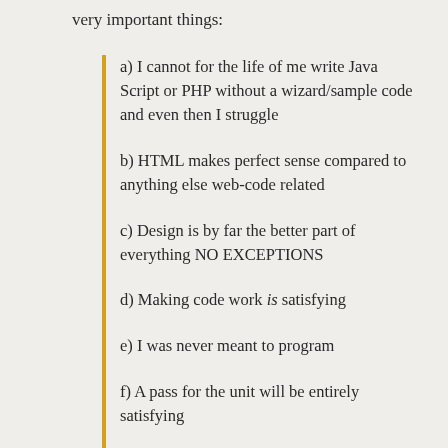very important things:
a) I cannot for the life of me write Java Script or PHP without a wizard/sample code and even then I struggle
b) HTML makes perfect sense compared to anything else web-code related
c) Design is by far the better part of everything NO EXCEPTIONS
d) Making code work is satisfying
e) I was never meant to program
f) A pass for the unit will be entirely satisfying